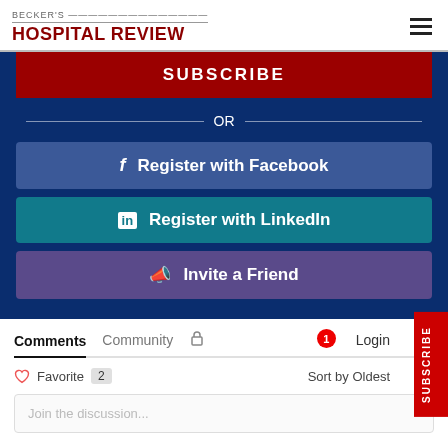BECKER'S HOSPITAL REVIEW
SUBSCRIBE
OR
f  Register with Facebook
in  Register with LinkedIn
Invite a Friend
Comments   Community   Login
Favorite 2   Sort by Oldest
Join the discussion...